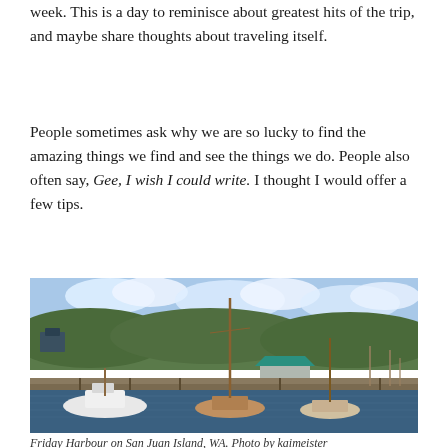week. This is a day to reminisce about greatest hits of the trip, and maybe share thoughts about traveling itself.
People sometimes ask why we are so lucky to find the amazing things we find and see the things we do. People also often say, Gee, I wish I could write. I thought I would offer a few tips.
[Figure (photo): Harbour scene at Friday Harbour on San Juan Island, WA. Sailboats and motorboats moored at wooden docks, with green forested hills in the background and a partly cloudy sky. A blue-roofed boathouse is visible in the middle distance.]
Friday Harbour on San Juan Island, WA. Photo by kaimeister